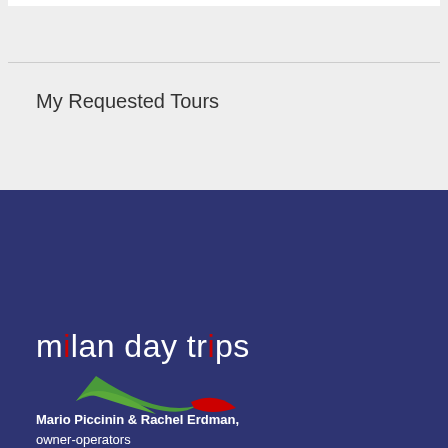My Requested Tours
[Figure (logo): Milan Day Trips logo with stylized text 'milan day trips' and a swoosh graphic in green and red on dark navy background]
Mario Piccinin & Rachel Erdman, owner-operators